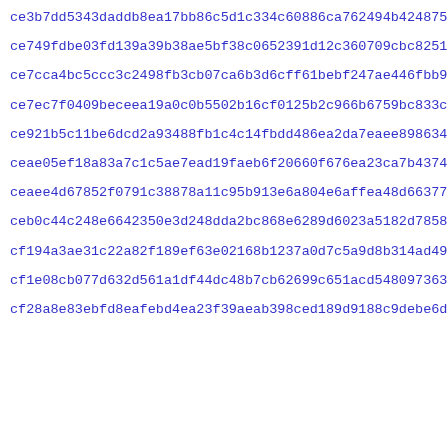ce3b7dd5343daddb8ea17bb86c5d1c334c60886ca762494b42487543d4d1e
ce749fdbe03fd139a39b38ae5bf38c0652391d12c360709cbc8251d3ce049
ce7cca4bc5ccc3c2498fb3cb07ca6b3d6cff61bebf247ae446fbb9a78c151
ce7ec7f0409beceea19a0c0b5502b16cf0125b2c966b6759bc833c7b1b018
ce921b5c11be6dcd2a93488fb1c4c14fbdd486ea2da7eaee898634c2bf068
ceae05ef18a83a7c1c5ae7ead19faeb6f20660f676ea23ca7b437419a279f
ceaee4d67852f0791c38878a11c95b913e6a804e6affea48d663778882a7d
ceb0c44c248e6642350e3d248dda2bc868e6289d6023a5182d78582f5ca1c
cf194a3ae31c22a82f189ef63e02168b1237a0d7c5a9d8b314ad49d84cffa
cf1e08cb077d632d561a1df44dc48b7cb62699c651acd548097363ec5506b
cf28a8e83ebfd8eafebd4ea23f39aeab398ced189d9188c9debe6d902ef77